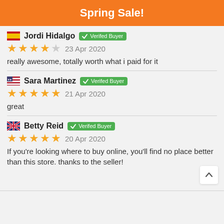Spring Sale!
Jordi Hidalgo  Verifed Buyer
★★★★☆ 23 Apr 2020
really awesome, totally worth what i paid for it
Sara Martinez  Verifed Buyer
★★★★★ 21 Apr 2020
great
Betty Reid  Verifed Buyer
★★★★★ 20 Apr 2020
If you're looking where to buy online, you'll find no place better than this store. thanks to the seller!